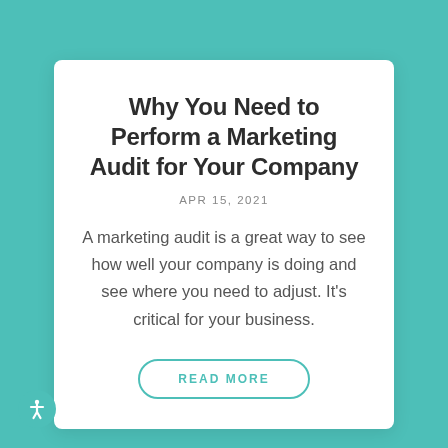Why You Need to Perform a Marketing Audit for Your Company
APR 15, 2021
A marketing audit is a great way to see how well your company is doing and see where you need to adjust. It's critical for your business.
READ MORE